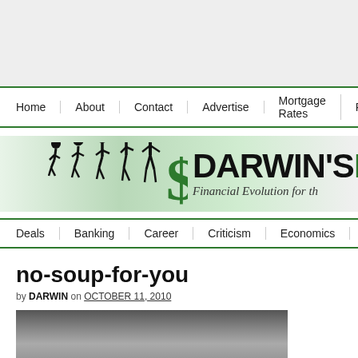[Figure (screenshot): Gray area at top of page (advertisement/header area)]
Home | About | Contact | Advertise | Mortgage Rates | Privacy
[Figure (logo): Darwin's Money logo with evolution silhouettes and dollar sign. Text: DARWIN'S MONEY - Financial Evolution for th...]
Deals | Banking | Career | Criticism | Economics | College | Stocks
no-soup-for-you
by DARWIN on OCTOBER 11, 2010
[Figure (photo): Partial photo at bottom of page, appears to show a person]